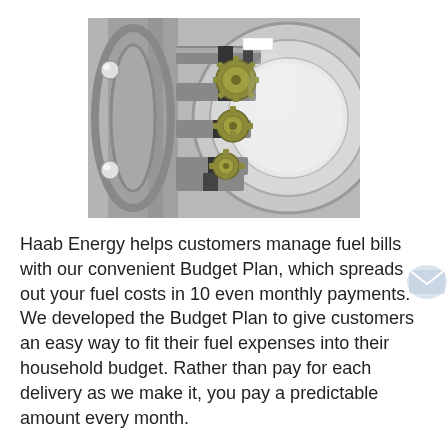[Figure (photo): Close-up photograph of a bank vault door mechanism showing interlocking metal gears and locking bolts made of steel and brass-colored metal against a circular vault door frame.]
Haab Energy helps customers manage fuel bills with our convenient Budget Plan, which spreads out your fuel costs in 10 even monthly payments. We developed the Budget Plan to give customers an easy way to fit their fuel expenses into their household budget. Rather than pay for each delivery as we make it, you pay a predictable amount every month.